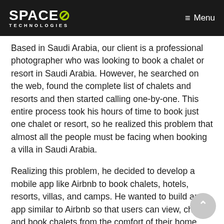SPACE∅ TECHNOLOGIES — Menu
Based in Saudi Arabia, our client is a professional photographer who was looking to book a chalet or resort in Saudi Arabia. However, he searched on the web, found the complete list of chalets and resorts and then started calling one-by-one. This entire process took his hours of time to book just one chalet or resort, so he realized this problem that almost all the people must be facing when booking a villa in Saudi Arabia.
Realizing this problem, he decided to develop a mobile app like Airbnb to book chalets, hotels, resorts, villas, and camps. He wanted to build an app similar to Airbnb so that users can view, check and book chalets from the comfort of their home and seat back relax to enjoy their holidays.